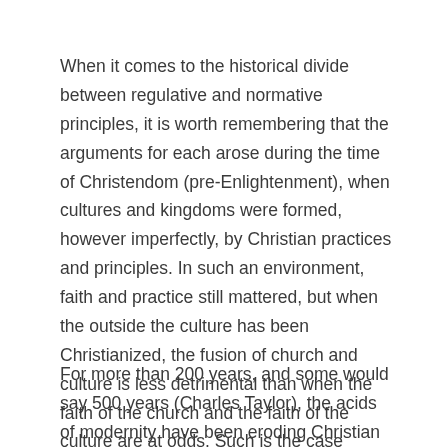…[partial heading visible at top]
When it comes to the historical divide between regulative and normative principles, it is worth remembering that the arguments for each arose during the time of Christendom (pre-Enlightenment), when cultures and kingdoms were formed, however imperfectly, by Christian practices and principles. In such an environment, faith and practice still mattered, but when the outside the culture has been Christianized, the fusion of church and culture is less detrimental than when the faith of the church and the faith of the culture are at odds. Such is the case today.
For more than 200 years, and some would say 500 years (Charles Taylor), the acids of modernity have been eroding Christian doctrine and practice. Therefore, any